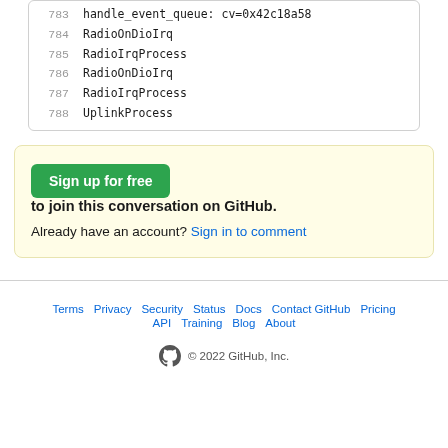783 handle_event_queue: cv=0x42c18a58
784 RadioOnDioIrq
785 RadioIrqProcess
786 RadioOnDioIrq
787 RadioIrqProcess
788 UplinkProcess
Sign up for free to join this conversation on GitHub. Already have an account? Sign in to comment
Terms · Privacy · Security · Status · Docs · Contact GitHub · Pricing · API · Training · Blog · About · © 2022 GitHub, Inc.